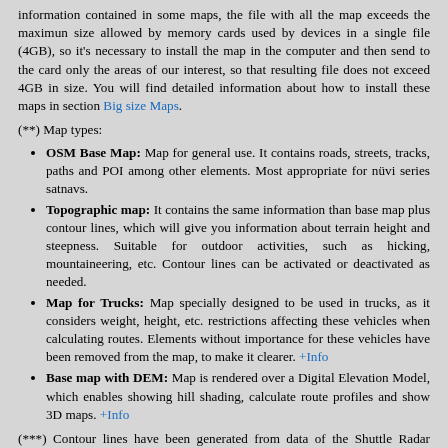information contained in some maps, the file with all the map exceeds the maximun size allowed by memory cards used by devices in a single file (4GB), so it's necessary to install the map in the computer and then send to the card only the areas of our interest, so that resulting file does not exceed 4GB in size. You will find detailed information about how to install these maps in section Big size Maps.
(**) Map types:
OSM Base Map: Map for general use. It contains roads, streets, tracks, paths and POI among other elements. Most appropriate for nüvi series satnavs.
Topographic map: It contains the same information than base map plus contour lines, which will give you information about terrain height and steepness. Suitable for outdoor activities, such as hicking, mountaineering, etc. Contour lines can be activated or deactivated as needed.
Map for Trucks: Map specially designed to be used in trucks, as it considers weight, height, etc. restrictions affecting these vehicles when calculating routes. Elements without importance for these vehicles have been removed from the map, to make it clearer. +Info
Base map with DEM: Map is rendered over a Digital Elevation Model, which enables showing hill shading, calculate route profiles and show 3D maps. +Info
(***) Contour lines have been generated from data of the Shuttle Radar Topography Mission (SRTM) of the NASA. Courtesy NASA/JPL-Caltech. For all areas where data from Jonathan de Ferranti (www.viewfinderpanoramas.org) were available, they